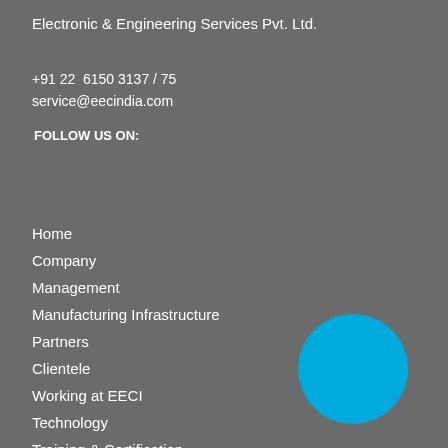Electronic & Engineering Services Pvt. Ltd.
+91 22  6150 3137 / 75
service@eecindia.com
FOLLOW US ON:
Home
Company
Management
Manufacturing Infrastructure
Partners
Clientele
Working at EECI
Technology
Training & Certification
Services
[Figure (illustration): Cyan/blue circle decorative element in the bottom-right area of the page]